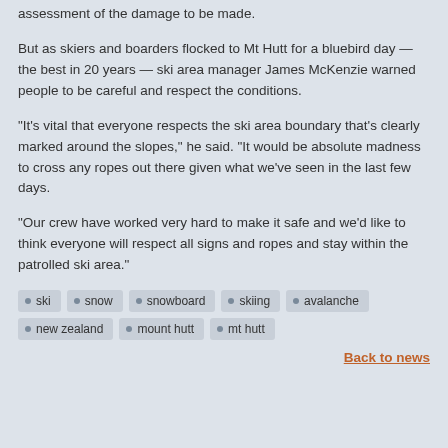assessment of the damage to be made.
But as skiers and boarders flocked to Mt Hutt for a bluebird day — the best in 20 years — ski area manager James McKenzie warned people to be careful and respect the conditions.
“It’s vital that everyone respects the ski area boundary that’s clearly marked around the slopes,” he said. “It would be absolute madness to cross any ropes out there given what we’ve seen in the last few days.
“Our crew have worked very hard to make it safe and we’d like to think everyone will respect all signs and ropes and stay within the patrolled ski area.”
ski
snow
snowboard
skiing
avalanche
new zealand
mount hutt
mt hutt
Back to news